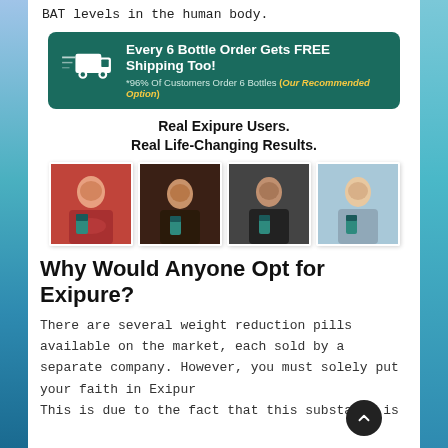BAT levels in the human body.
[Figure (infographic): Dark teal banner with delivery truck icon. Text: Every 6 Bottle Order Gets FREE Shipping Too! *96% Of Customers Order 6 Bottles (Our Recommended Option)]
Real Exipure Users.
Real Life-Changing Results.
[Figure (photo): Four photos of Exipure users holding product bottles — a woman in red, a young woman, a man, and a blonde woman outdoors.]
Why Would Anyone Opt for Exipure?
There are several weight reduction pills available on the market, each sold by a separate company. However, you must solely put your faith in Exipure. This is due to the fact that this substance is